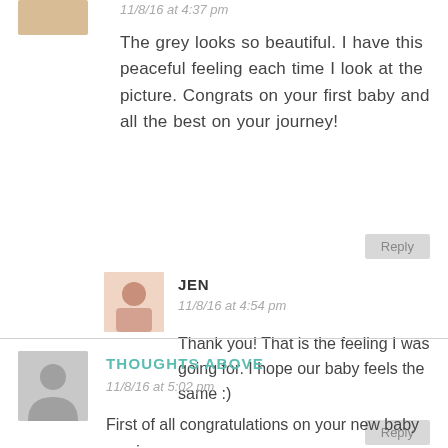11/8/16 at 4:37 pm
The grey looks so beautiful. I have this peaceful feeling each time I look at the picture. Congrats on your first baby and all the best on your journey!
Reply
JEN
11/8/16 at 4:54 pm
Thank you! That is the feeling I was going for. I hope our baby feels the same :)
Reply
THOUGHTS ABOVE
11/8/16 at 5:02 pm
First of all congratulations on your new baby coming.